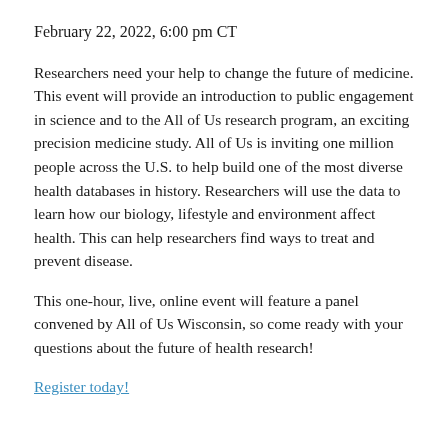February 22, 2022, 6:00 pm CT
Researchers need your help to change the future of medicine. This event will provide an introduction to public engagement in science and to the All of Us research program, an exciting precision medicine study. All of Us is inviting one million people across the U.S. to help build one of the most diverse health databases in history. Researchers will use the data to learn how our biology, lifestyle and environment affect health. This can help researchers find ways to treat and prevent disease.
This one-hour, live, online event will feature a panel convened by All of Us Wisconsin, so come ready with your questions about the future of health research!
Register today!